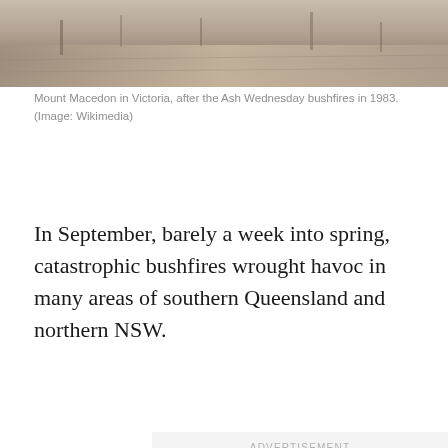[Figure (photo): Photograph of Mount Macedon in Victoria after the Ash Wednesday bushfires in 1983, showing a road or cleared area with burned landscape]
Mount Macedon in Victoria, after the Ash Wednesday bushfires in 1983. (Image: Wikimedia)
In September, barely a week into spring, catastrophic bushfires wrought havoc in many areas of southern Queensland and northern NSW.
ADVERTISEMENT